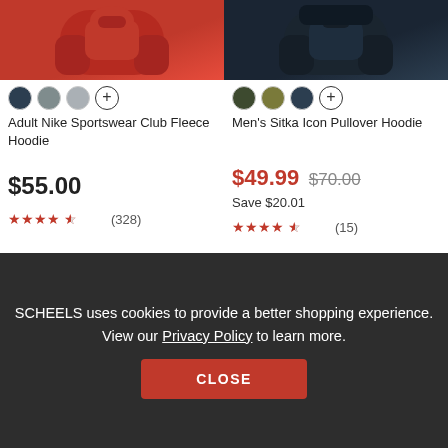[Figure (photo): Red Nike hoodie product image (top cropped)]
[Figure (photo): Dark navy Sitka pullover hoodie product image (top cropped)]
Adult Nike Sportswear Club Fleece Hoodie
$55.00
★★★★½ (328)
Men's Sitka Icon Pullover Hoodie
$49.99  $70.00  Save $20.01
★★★★½ (15)
[Figure (photo): Camo pattern jacket product image (partially visible)]
[Figure (photo): Person wearing grey hoodie (partially visible)]
SCHEELS uses cookies to provide a better shopping experience. View our Privacy Policy to learn more.
CLOSE